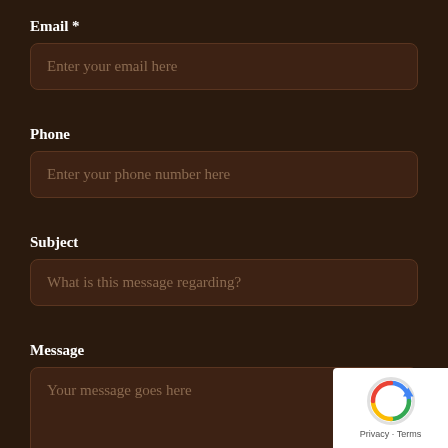Email *
Enter your email here
Phone
Enter your phone number here
Subject
What is this message regarding?
Message
Your message goes here
[Figure (logo): reCAPTCHA badge with Privacy and Terms links]